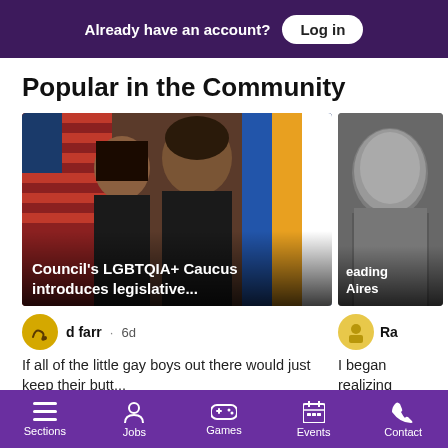Already have an account? Log in
Popular in the Community
[Figure (photo): Two people standing in front of flags including an American flag and an NYC flag]
Council's LGBTQIA+ Caucus introduces legislative...
[Figure (photo): Partial black and white photo, partially visible]
eading Aires
d farr · 6d
If all of the little gay boys out there would just keep their butt...
Top Comment
Ra
I began realizing
Top C
Sections  Jobs  Games  Events  Contact